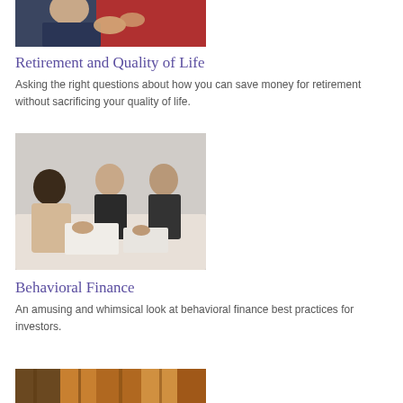[Figure (photo): Partial view of two elderly people, one in dark blue jacket, one in red jacket, hands visible on chest]
Retirement and Quality of Life
Asking the right questions about how you can save money for retirement without sacrificing your quality of life.
[Figure (photo): Three people sitting around a table in discussion — a Black woman in beige blazer, an older woman with glasses, and an older man, with papers on the table]
Behavioral Finance
An amusing and whimsical look at behavioral finance best practices for investors.
[Figure (photo): Partial image of warm-toned abstract or natural texture, orange and brown tones visible at bottom of page]